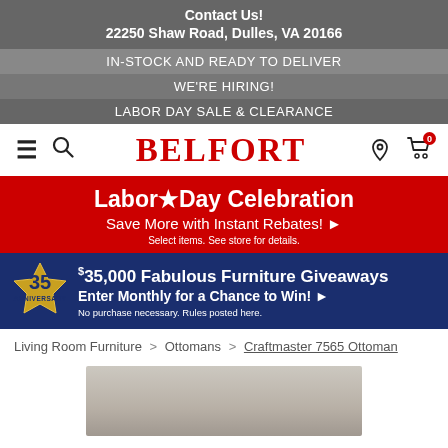Contact Us!
22250 Shaw Road, Dulles, VA 20166
IN-STOCK AND READY TO DELIVER
WE'RE HIRING!
LABOR DAY SALE & CLEARANCE
[Figure (logo): Belfort furniture store logo with hamburger menu, search, location and cart icons]
[Figure (infographic): Red Labor Day Celebration banner: Save More with Instant Rebates! Select items. See store for details.]
[Figure (infographic): Blue 35th Anniversary banner: $35,000 Fabulous Furniture Giveaways. Enter Monthly for a Chance to Win! No purchase necessary. Rules posted here.]
Living Room Furniture > Ottomans > Craftmaster 7565 Ottoman
[Figure (photo): Partial view of an ottoman product photo]